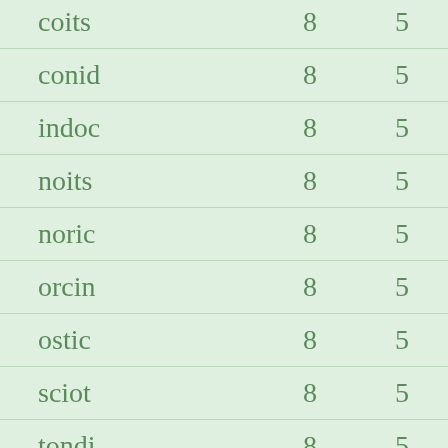| coits | 8 | 5 |
| conid | 8 | 5 |
| indoc | 8 | 5 |
| noits | 8 | 5 |
| noric | 8 | 5 |
| orcin | 8 | 5 |
| ostic | 8 | 5 |
| sciot | 8 | 5 |
| tondi | 8 | 5 |
| tonis | 8 | 5 |